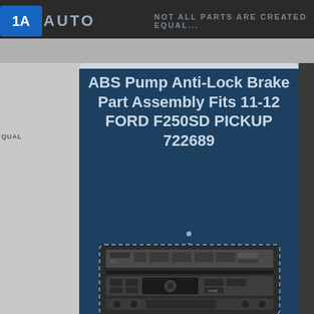1A AUTO — NOT ALL PARTS ARE CREATED EQUAL...
ABS Pump Anti-Lock Brake Part Assembly Fits 11-12 FORD F250SD PICKUP 722689
[Figure (photo): Car radio/audio control unit panel showing preset buttons, display screen area, and control knobs — appears to be from a Ford F250 truck dashboard]